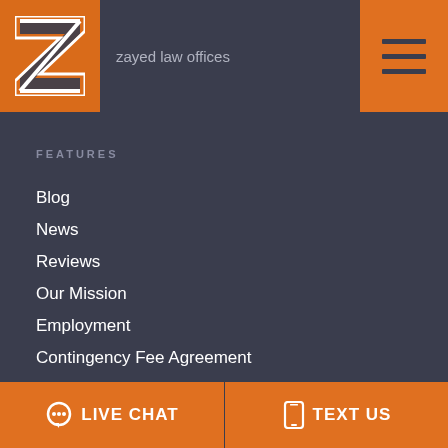zayed law offices
FEATURES
Blog
News
Reviews
Our Mission
Employment
Contingency Fee Agreement
Sitemap
SIGN UP FOR OUR NEWSLETTER
LIVE CHAT
TEXT US